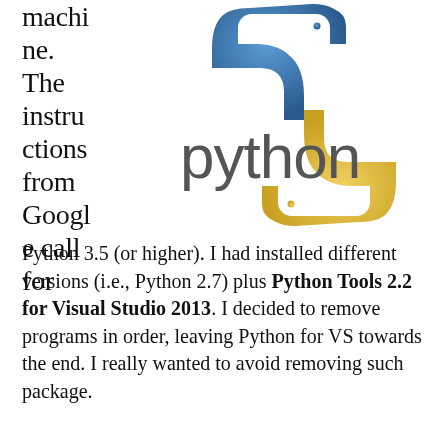machine. The instructions from Google call for
[Figure (logo): Python programming language logo: blue and yellow snake intertwined above the word 'python' in gray]
Python 3.5 (or higher). I had installed different versions (i.e., Python 2.7) plus Python Tools 2.2 for Visual Studio 2013. I decided to remove programs in order, leaving Python for VS towards the end. I really wanted to avoid removing such package.